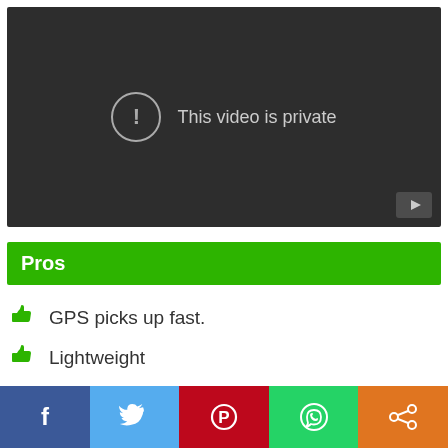[Figure (screenshot): Video player showing 'This video is private' message on dark background with YouTube icon in bottom right]
Pros
GPS picks up fast.
Lightweight
[Figure (infographic): Social share bar with Facebook, Twitter, Pinterest, WhatsApp, and share icons]